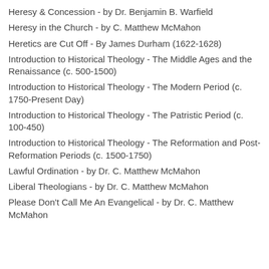Heresy & Concession - by Dr. Benjamin B. Warfield
Heresy in the Church - by C. Matthew McMahon
Heretics are Cut Off - By James Durham (1622-1628)
Introduction to Historical Theology - The Middle Ages and the Renaissance (c. 500-1500)
Introduction to Historical Theology - The Modern Period (c. 1750-Present Day)
Introduction to Historical Theology - The Patristic Period (c. 100-450)
Introduction to Historical Theology - The Reformation and Post-Reformation Periods (c. 1500-1750)
Lawful Ordination - by Dr. C. Matthew McMahon
Liberal Theologians - by Dr. C. Matthew McMahon
Please Don't Call Me An Evangelical - by Dr. C. Matthew McMahon